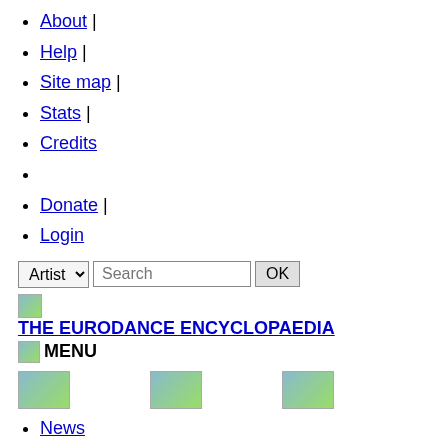About |
Help |
Site map |
Stats |
Credits
Donate |
Login
Artist [dropdown] Search [input] OK [button]
[Figure (illustration): Small landscape image placeholder]
THE EURODANCE ENCYCLOPAEDIA
[Figure (illustration): Small landscape image placeholder]
MENU
[Figure (illustration): Kullai_timi image]
[Figure (illustration): Jk image]
[Figure (illustration): Cb_milton image]
News
Eurodance nowadays
Current news
Twitter
10 top eurodance news for 2012
News history
Year 2022